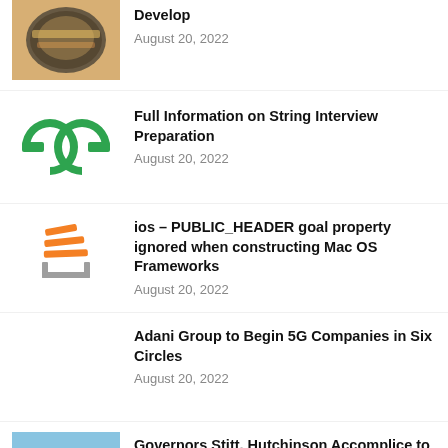[Figure (photo): Food photo showing a dish with rice and meat in a dark bowl, partially visible at top]
Develop
August 20, 2022
[Figure (logo): GeeksforGeeks logo — two green C-like shapes forming GG initials]
Full Information on String Interview Preparation
August 20, 2022
[Figure (logo): Stack Overflow logo — orange diagonal lines above a gray bracket]
ios – PUBLIC_HEADER goal property ignored when constructing Mac OS Frameworks
August 20, 2022
Adani Group to Begin 5G Companies in Six Circles
August 20, 2022
[Figure (photo): Outdoor photo partially visible at bottom left]
Governors Stitt, Hutchinson Accomplice to